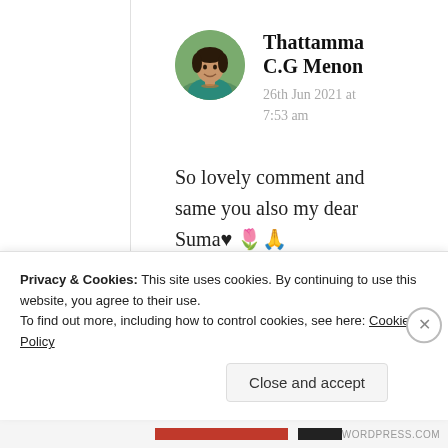[Figure (photo): Circular avatar photo of a woman wearing a teal/green top and necklace, with a blurred green background]
Thattamma C.G Menon
26th Jun 2021 at 7:53 am
So lovely comment and same you also my dear Suma♥ 🌷🙏
Most welcome 👏😊🌹
Privacy & Cookies: This site uses cookies. By continuing to use this website, you agree to their use.
To find out more, including how to control cookies, see here: Cookie Policy
Close and accept